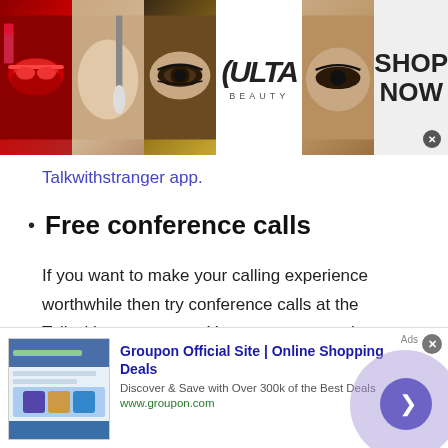[Figure (screenshot): Top advertisement banner for ULTA Beauty with makeup photos (lips, brush, eye), ULTA logo, and SHOP NOW call to action with close button]
Talkwithstranger app.
Free conference calls
If you want to make your calling experience worthwhile then try conference calls at the Talkwithstranger app. Yes, anyone can take advantage of audio and video conference calls and stay connected with friends, family or loved ones. When it comes to its accessibility, you can mak
[Figure (screenshot): Bottom advertisement for Groupon Official Site | Online Shopping Deals. Subtext: Discover & Save with Over 300k of the Best Deals. URL: www.groupon.com. Has thumbnail image, blue play/next button, and close X button.]